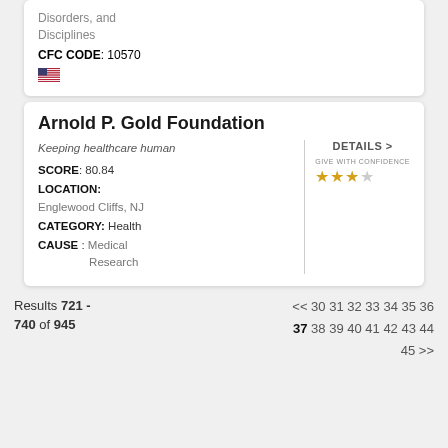Disorders, and Disciplines
CFC CODE: 10570
Arnold P. Gold Foundation
Keeping healthcare human
SCORE: 80.84
LOCATION: Englewood Cliffs, NJ
CATEGORY: Health
CAUSE: Medical Research
DETAILS >
[Figure (other): Give With Confidence rating: 3 out of 4 stars]
Results 721 - 740 of 945
<< 30 31 32 33 34 35 36 37 38 39 40 41 42 43 44 45 >> (37 is current page)